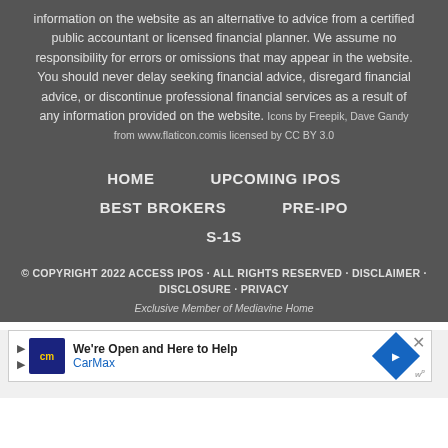information on the website as an alternative to advice from a certified public accountant or licensed financial planner. We assume no responsibility for errors or omissions that may appear in the website. You should never delay seeking financial advice, disregard financial advice, or discontinue professional financial services as a result of any information provided on the website. Icons by Freepik, Dave Gandy from www.flaticon.comis licensed by CC BY 3.0
HOME
UPCOMING IPOS
BEST BROKERS
PRE-IPO
S-1S
© COPYRIGHT 2022 ACCESS IPOS · ALL RIGHTS RESERVED · DISCLAIMER · DISCLOSURE · PRIVACY
Exclusive Member of Mediavine Home
[Figure (screenshot): CarMax advertisement banner: We're Open and Here to Help, with CarMax logo and navigation icon]